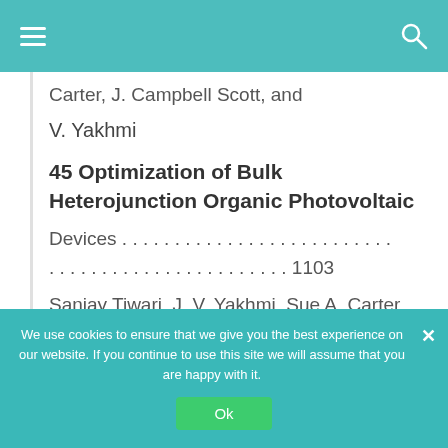≡  [navigation bar with hamburger menu and search icon]
Carter, J. Campbell Scott, and
V. Yakhmi
45 Optimization of Bulk Heterojunction Organic Photovoltaic
Devices . . . . . . . . . . . . . . . . . . . . . . . . . . . . . . . . . . . . . . . . . . . . . . . . 1103
Sanjay Tiwari, J. V. Yakhmi, Sue A. Carter,
We use cookies to ensure that we give you the best experience on our website. If you continue to use this site we will assume that you are happy with it.
Ok